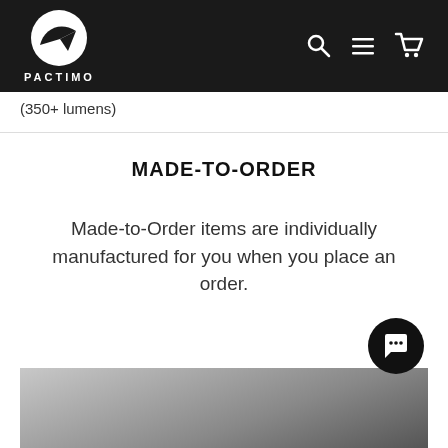PACTIMO
(350+ lumens)
MADE-TO-ORDER
Made-to-Order items are individually manufactured for you when you place an order.
[Figure (photo): Black and white photo of a manufacturing or industrial scene, partially visible at bottom of page]